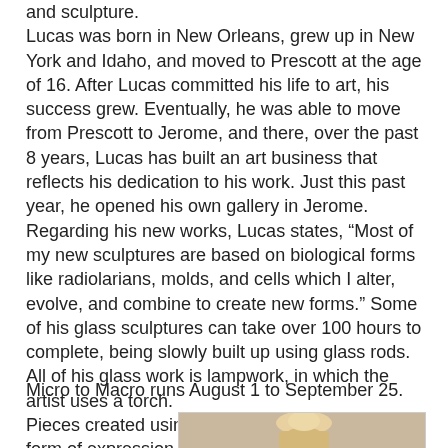and sculpture. Lucas was born in New Orleans, grew up in New York and Idaho, and moved to Prescott at the age of 16. After Lucas committed his life to art, his success grew. Eventually, he was able to move from Prescott to Jerome, and there, over the past 8 years, Lucas has built an art business that reflects his dedication to his work. Just this past year, he opened his own gallery in Jerome. Regarding his new works, Lucas states, “Most of my new sculptures are based on biological forms like radiolarians, molds, and cells which I alter, evolve, and combine to create new forms.” Some of his glass sculptures can take over 100 hours to complete, being slowly built up using glass rods. All of his glass work is lampwork, in which the artist uses a torch. Pieces created using stencils on wood is another form of expression that Lucas will be showing. These pieces are sure to engage the viewer with a “black on black” concept. Lucas states, “By using black on black, it brings people into the piece, as it is the interaction with the light that you see that is intriguing.”
Micro to Macro runs August 1 to September 25.
[Figure (photo): Photo of a person, partially visible at bottom of page]